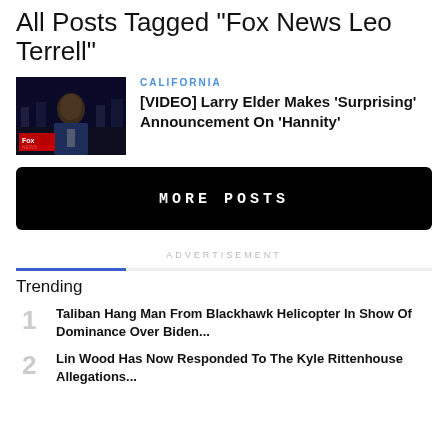All Posts Tagged "Fox News Leo Terrell"
[Figure (photo): Thumbnail image of Larry Elder on Fox News studio set]
CALIFORNIA
[VIDEO] Larry Elder Makes 'Surprising' Announcement On 'Hannity'
MORE POSTS
ADVERTISEMENT
Trending
1 Taliban Hang Man From Blackhawk Helicopter In Show Of Dominance Over Biden...
2 Lin Wood Has Now Responded To The Kyle Rittenhouse Allegations...